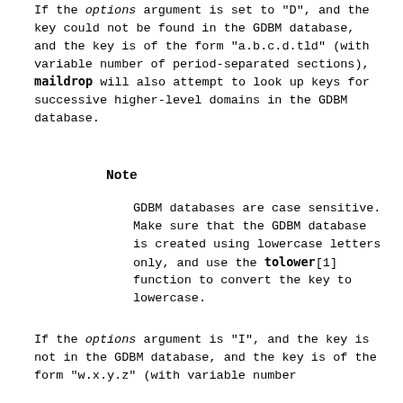If the options argument is set to "D", and the key could not be found in the GDBM database, and the key is of the form "a.b.c.d.tld" (with variable number of period-separated sections), maildrop will also attempt to look up keys for successive higher-level domains in the GDBM database.
Note
GDBM databases are case sensitive. Make sure that the GDBM database is created using lowercase letters only, and use the tolower[1] function to convert the key to lowercase.
If the options argument is "I", and the key is not in the GDBM database, and the key is of the form "w.x.y.z" (with variable number